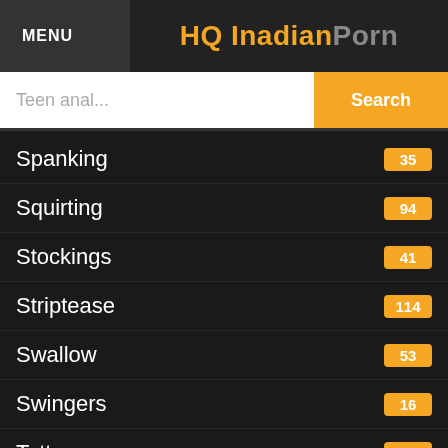MENU | HQ InadianPorn
Teen anal... Search
Spanking 35
Squirting 94
Stockings 41
Striptease 114
Swallow 53
Swingers 16
Tattoo 27
Teacher 168
Teen 693
Threesome 218